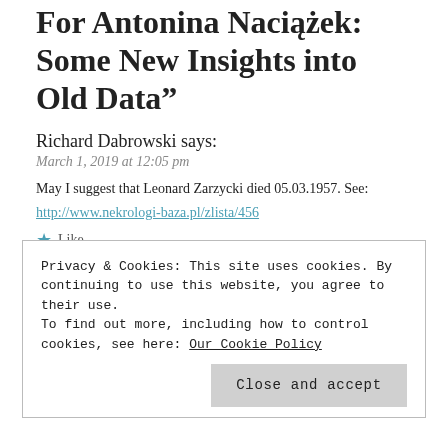For Antonina Naciążek: Some New Insights into Old Data"
Richard Dabrowski says:
March 1, 2019 at 12:05 pm
May I suggest that Leonard Zarzycki died 05.03.1957. See:
http://www.nekrologi-baza.pl/zlista/456
Like
REPLY
Julie Roberts Szczepankiewicz says:
March 1, 2019 at 12:53 pm
Privacy & Cookies: This site uses cookies. By continuing to use this website, you agree to their use. To find out more, including how to control cookies, see here: Our Cookie Policy
Close and accept